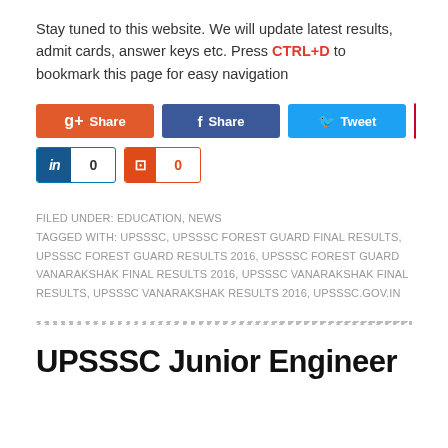Stay tuned to this website. We will update latest results, admit cards, answer keys etc. Press CTRL+D to bookmark this page for easy navigation
[Figure (other): Social sharing buttons row 1: Google+ Share, Facebook Share, Twitter Tweet, Pinterest 0]
[Figure (other): Social sharing buttons row 2: LinkedIn 0, StumbleUpon 0]
FILED UNDER: EDUCATION, NEWS
TAGGED WITH: UPSSSC, UPSSSC FOREST GUARD FINAL RESULTS, UPSSSC FOREST GUARD RESULTS 2016, UPSSSC FOREST GUARD VANARAKSHAK FINAL RESULTS 2016, UPSSSC VANARAKSHAK FINAL RESULTS, UPSSSC VANARAKSHAK RESULTS 2016, UPSSSC.GOV.IN
UPSSSC Junior Engineer